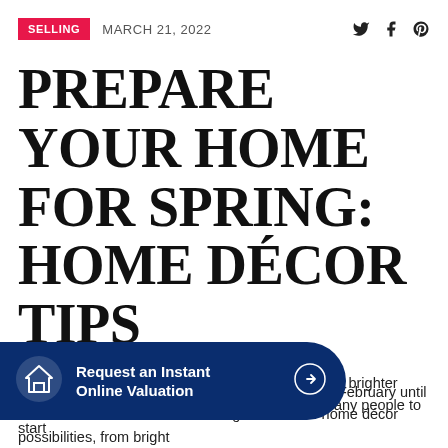SELLING  MARCH 21, 2022
PREPARE YOUR HOME FOR SPRING: HOME DÉCOR TIPS
Spring is here! With the new season comes longer, brighter days after a cold and gloomy winter, prompting many people to start
ggest the best time to sell your house is from mid-February until the end of June. This season brings all sorts of home décor possibilities, from bright